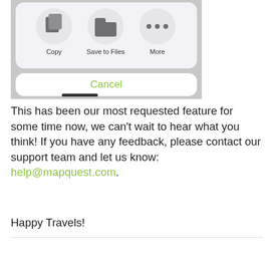[Figure (screenshot): iOS share sheet screenshot showing Copy, Save to Files, and More options with icons, plus a Cancel button below, on a light gray background.]
This has been our most requested feature for some time now, we can't wait to hear what you think! If you have any feedback, please contact our support team and let us know: help@mapquest.com.
Happy Travels!